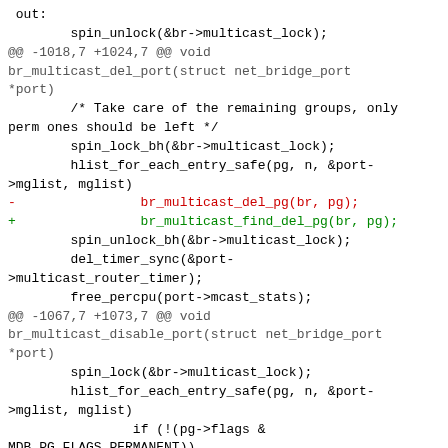out:
        spin_unlock(&br->multicast_lock);
@@ -1018,7 +1024,7 @@ void br_multicast_del_port(struct net_bridge_port *port)
        /* Take care of the remaining groups, only perm ones should be left */
        spin_lock_bh(&br->multicast_lock);
        hlist_for_each_entry_safe(pg, n, &port->mglist, mglist)
-                br_multicast_del_pg(br, pg);
+                br_multicast_find_del_pg(br, pg);
        spin_unlock_bh(&br->multicast_lock);
        del_timer_sync(&port->multicast_router_timer);
        free_percpu(port->mcast_stats);
@@ -1067,7 +1073,7 @@ void br_multicast_disable_port(struct net_bridge_port *port)
        spin_lock(&br->multicast_lock);
        hlist_for_each_entry_safe(pg, n, &port->mglist, mglist)
                if (!(pg->flags & MDB_PG_FLAGS_PERMANENT))
-                        br_multicast_del_pg(br, pg);
+
br_multicast_find_del_pg(br, pg);

        __del_port_router(port);